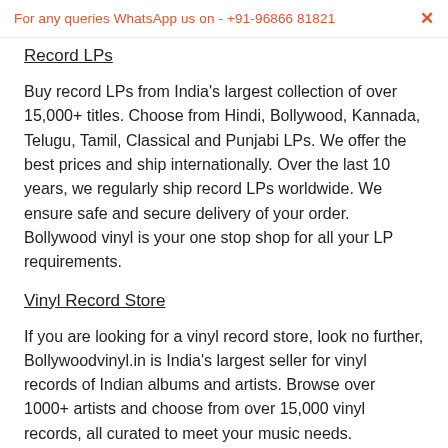For any queries WhatsApp us on - +91-96866 81821  ×
Record LPs
Buy record LPs from India's largest collection of over 15,000+ titles. Choose from Hindi, Bollywood, Kannada, Telugu, Tamil, Classical and Punjabi LPs. We offer the best prices and ship internationally. Over the last 10 years, we regularly ship record LPs worldwide. We ensure safe and secure delivery of your order. Bollywood vinyl is your one stop shop for all your LP requirements.
Vinyl Record Store
If you are looking for a vinyl record store, look no further, Bollywoodvinyl.in is India's largest seller for vinyl records of Indian albums and artists. Browse over 1000+ artists and choose from over 15,000 vinyl records, all curated to meet your music needs. Bollywood vinyl is a trusted name in the vinyl business and ships...